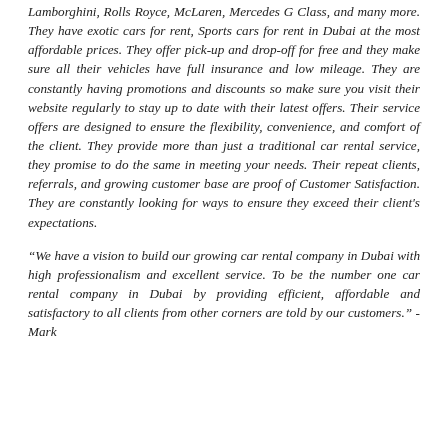Lamborghini, Rolls Royce, McLaren, Mercedes G Class, and many more. They have exotic cars for rent, Sports cars for rent in Dubai at the most affordable prices. They offer pick-up and drop-off for free and they make sure all their vehicles have full insurance and low mileage. They are constantly having promotions and discounts so make sure you visit their website regularly to stay up to date with their latest offers. Their service offers are designed to ensure the flexibility, convenience, and comfort of the client. They provide more than just a traditional car rental service, they promise to do the same in meeting your needs. Their repeat clients, referrals, and growing customer base are proof of Customer Satisfaction. They are constantly looking for ways to ensure they exceed their client's expectations.
“We have a vision to build our growing car rental company in Dubai with high professionalism and excellent service. To be the number one car rental company in Dubai by providing efficient, affordable and satisfactory to all clients from other corners are told by our customers.” - Mark